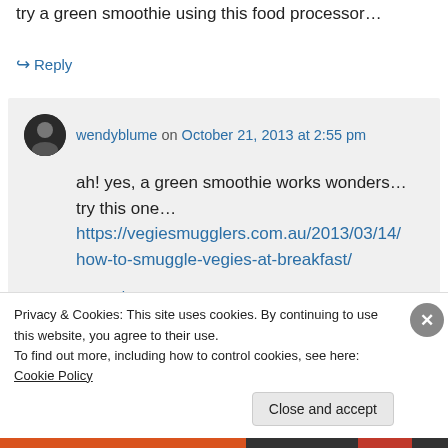try a green smoothie using this food processor…
↪ Reply
wendyblume on October 21, 2013 at 2:55 pm
ah! yes, a green smoothie works wonders… try this one… https://vegiesmugglers.com.au/2013/03/14/how-to-smuggle-vegies-at-breakfast/
↪ Reply
Privacy & Cookies: This site uses cookies. By continuing to use this website, you agree to their use. To find out more, including how to control cookies, see here: Cookie Policy
Close and accept